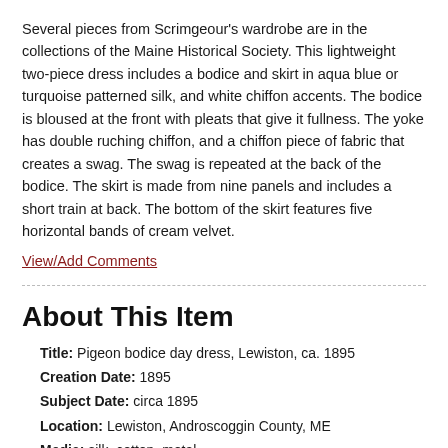Several pieces from Scrimgeour's wardrobe are in the collections of the Maine Historical Society. This lightweight two-piece dress includes a bodice and skirt in aqua blue or turquoise patterned silk, and white chiffon accents. The bodice is bloused at the front with pleats that give it fullness. The yoke has double ruching chiffon, and a chiffon piece of fabric that creates a swag. The swag is repeated at the back of the bodice. The skirt is made from nine panels and includes a short train at back. The bottom of the skirt features five horizontal bands of cream velvet.
View/Add Comments
About This Item
Title: Pigeon bodice day dress, Lewiston, ca. 1895
Creation Date: 1895
Subject Date: circa 1895
Location: Lewiston, Androscoggin County, ME
Media: silk, cotton, metal
Local Code: 1996.32.19 a,b
Collection: Costume collection
Object Type: Physical Object